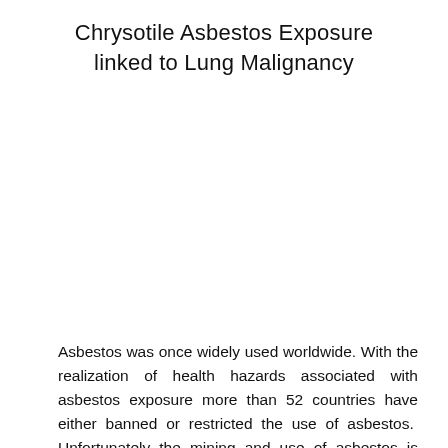Chrysotile Asbestos Exposure linked to Lung Malignancy
Asbestos was once widely used worldwide. With the realization of health hazards associated with asbestos exposure more than 52 countries have either banned or restricted the use of asbestos. Unfortunately the mining and use of asbestos is continuing in developing countries like